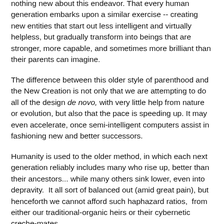nothing new about this endeavor. That every human generation embarks upon a similar exercise -- creating new entities that start out less intelligent and virtually helpless, but gradually transform into beings that are stronger, more capable, and sometimes more brilliant than their parents can imagine.
The difference between this older style of parenthood and the New Creation is not only that we are attempting to do all of the design de novo, with very little help from nature or evolution, but also that the pace is speeding up. It may even accelerate, once semi-intelligent computers assist in fashioning new and better successors.
Humanity is used to the older method, in which each next generation reliably includes many who rise up, better than their ancestors... while many others sink lower, even into depravity. It all sort of balanced out (amid great pain), but henceforth we cannot afford such haphazard ratios, from either our traditional-organic heirs or their cybernetic creche-mates.
In any case, many of us will have a hard time accepting...